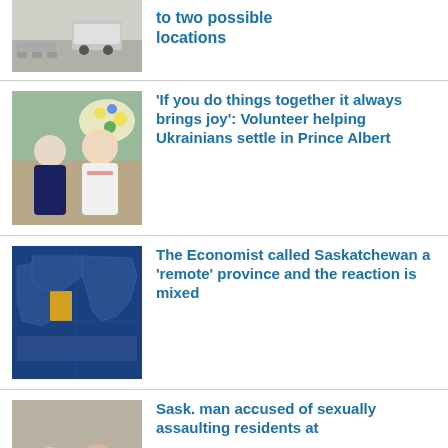[Figure (photo): Partial view of a street scene with a white car parked near concrete structures]
to two possible locations
[Figure (photo): Two women posing together, one in a dark top and one in a white embroidered shirt, with floral decoration in the background]
‘If you do things together it always brings joy’: Volunteer helping Ukrainians settle in Prince Albert
[Figure (map): Map of Canada with Saskatchewan province highlighted in yellow/gold on a blue background]
The Economist called Saskatchewan a ‘remote’ province and the reaction is mixed
[Figure (photo): Two people, a woman and a man, standing in front of a building]
Sask. man accused of sexually assaulting residents at